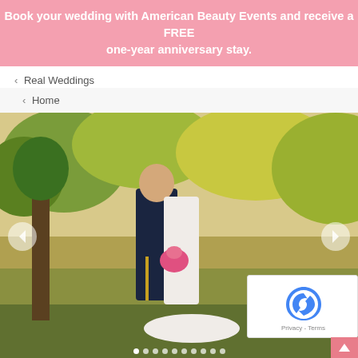Book your wedding with American Beauty Events and receive a FREE one-year anniversary stay.
< Real Weddings
< Home
[Figure (photo): Wedding couple standing in a field outdoors. A man in military dress uniform and a woman in a white wedding gown holding a pink bouquet face each other. Green trees and golden grasses in background. Navigation arrows on left and right sides. Slideshow dot indicators at bottom. reCAPTCHA widget overlaid on bottom right.]